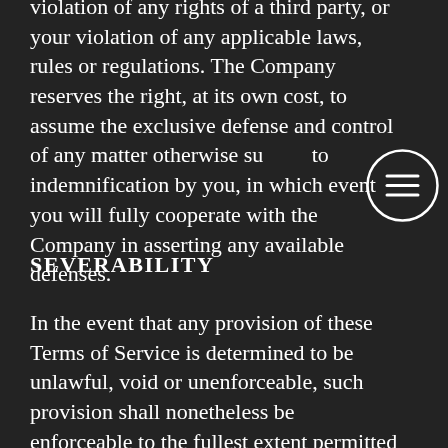violation of any rights of a third party, or your violation of any applicable laws, rules or regulations. The Company reserves the right, at its own cost, to assume the exclusive defense and control of any matter otherwise subject to indemnification by you, in which event you will fully cooperate with the Company in asserting any available defenses.
SEVERABILITY
In the event that any provision of these Terms of Service is determined to be unlawful, void or unenforceable, such provision shall nonetheless be enforceable to the fullest extent permitted by applicable law, and the unenforceable portion shall be deemed to be severed from these Terms of Service, such determination shall not affect the validity and enforceability of any other remaining